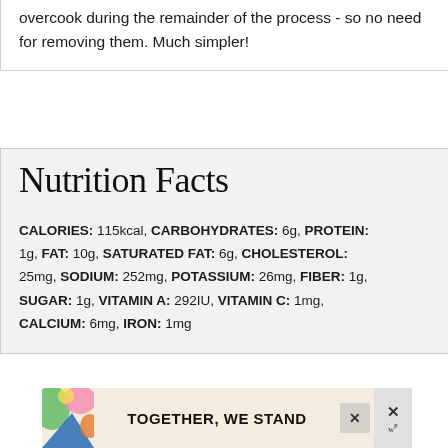overcook during the remainder of the process - so no need for removing them. Much simpler!
Nutrition Facts
CALORIES: 115kcal, CARBOHYDRATES: 6g, PROTEIN: 1g, FAT: 10g, SATURATED FAT: 6g, CHOLESTEROL: 25mg, SODIUM: 252mg, POTASSIUM: 26mg, FIBER: 1g, SUGAR: 1g, VITAMIN A: 292IU, VITAMIN C: 1mg, CALCIUM: 6mg, IRON: 1mg
[Figure (infographic): Advertisement banner reading TOGETHER, WE STAND with colorful abstract art on left side, close button, and Wattpad-style logo on right]